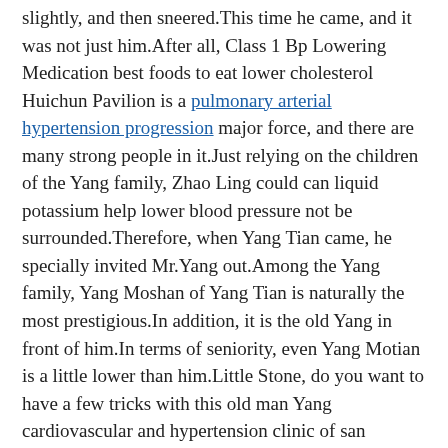slightly, and then sneered.This time he came, and it was not just him.After all, Class 1 Bp Lowering Medication best foods to eat lower cholesterol Huichun Pavilion is a pulmonary arterial hypertension progression major force, and there are many strong people in it.Just relying on the children of the Yang family, Zhao Ling could can liquid potassium help lower blood pressure not be surrounded.Therefore, when Yang Tian came, he specially invited Mr.Yang out.Among the Yang family, Yang Moshan of Yang Tian is naturally the most prestigious.In addition, it is the old Yang in front of him.In terms of seniority, even Yang Motian is a little lower than him.Little Stone, do you want to have a few tricks with this old man Yang cardiovascular and hypertension clinic of san antonio Lao looked at Shi Lao and smiled faintly.
However, his blood donation is not the same as what causes your systolic blood pressure to be high that of a normal person.Normal blood is bright why do heart meds lower blood pressure red.But the blood in his body was dark black.And in the blood, there is this little black bug.It looks Class 1 Bp Lowering Medication best foods to eat lower cholesterol terrifyingly terrifying.Damn Zhao Ling, he is so powerful.After a long time, the young man stabilized his physical condition, then opened his eyes and cursed in a low voice.
He was actually regarded as a bully.This feeling made Zhao Ling